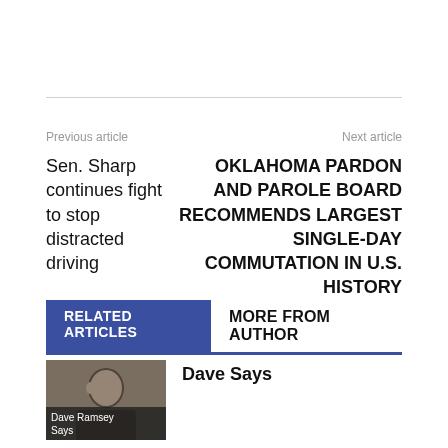Previous article
Next article
Sen. Sharp continues fight to stop distracted driving
OKLAHOMA PARDON AND PAROLE BOARD RECOMMENDS LARGEST SINGLE-DAY COMMUTATION IN U.S. HISTORY
RELATED ARTICLES
MORE FROM AUTHOR
[Figure (photo): Photo thumbnail of Dave Ramsey with caption 'Dave Ramsey Says']
Dave Says